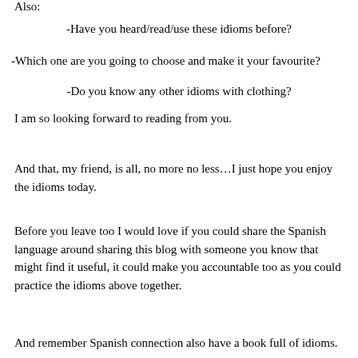Also:
-Have you heard/read/use these idioms before?
-Which one are you going to choose and make it your favourite?
-Do you know any other idioms with clothing?
I am so looking forward to reading from you.
And that, my friend, is all, no more no less…I just hope you enjoy the idioms today.
Before you leave too I would love if you could share the Spanish language around sharing this blog with someone you know that might find it useful, it could make you accountable too as you could practice the idioms above together.
And remember Spanish connection also have a book full of idioms.